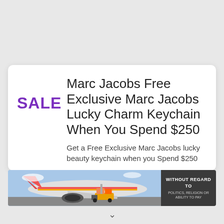Marc Jacobs Free Exclusive Marc Jacobs Lucky Charm Keychain When You Spend $250
Get a Free Exclusive Marc Jacobs lucky beauty keychain when you Spend $250
[Figure (photo): Advertisement banner showing a cargo airplane being loaded, with text 'WITHOUT REGARD TO POLITICS, RELIGION OR ABILITY TO PAY' on a dark background to the right.]